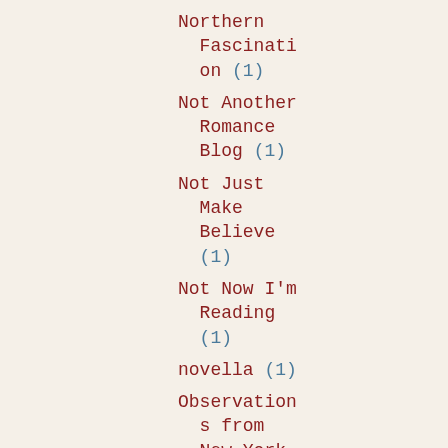Northern Fascination (1)
Not Another Romance Blog (1)
Not Just Make Believe (1)
Not Now I'm Reading (1)
novella (1)
Observations from New York (1)